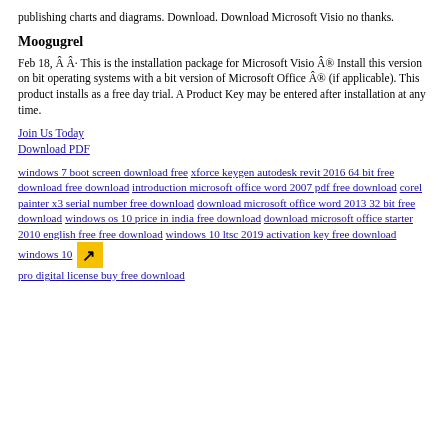publishing charts and diagrams. Download. Download Microsoft Visio no thanks.
Moogugrel
Feb 18, Â Â· This is the installation package for Microsoft Visio Â® Install this version on bit operating systems with a bit version of Microsoft Office Â® (if applicable). This product installs as a free day trial. A Product Key may be entered after installation at any time.
Join Us Today
Download PDF
windows 7 boot screen download free xforce keygen autodesk revit 2016 64 bit free download free download introduction microsoft office word 2007 pdf free download corel painter x3 serial number free download download microsoft office word 2013 32 bit free download windows os 10 price in india free download download microsoft office starter 2010 english free free download windows 10 ltsc 2019 activation key free download windows 10 pro digital license buy free download